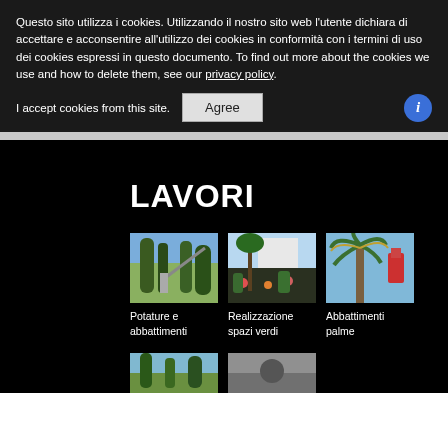Questo sito utilizza i cookies. Utilizzando il nostro sito web l'utente dichiara di accettare e acconsentire all'utilizzo dei cookies in conformità con i termini di uso dei cookies espressi in questo documento. To find out more about the cookies we use and how to delete them, see our privacy policy.
I accept cookies from this site.
LAVORI
[Figure (photo): Photo of tall trees with a crane or lift truck visible, outdoors, blue sky.]
Potature e abbattimenti
[Figure (photo): Photo of a landscaped garden with palm trees, dark mulch, colorful flowers and plants.]
Realizzazione spazi verdi
[Figure (photo): Photo of a palm tree with a cherry picker/lift visible in the background, blue sky.]
Abbattimenti palme
[Figure (photo): Photo of trees, partially visible at bottom of page.]
[Figure (photo): Photo partially visible at bottom of page.]